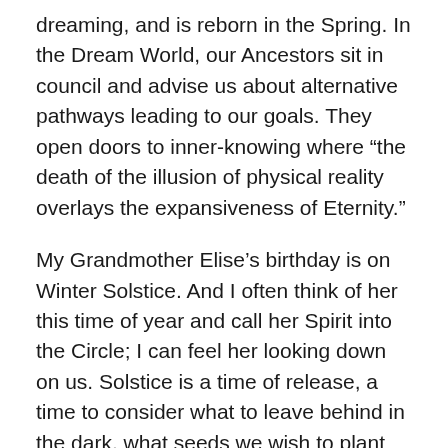dreaming, and is reborn in the Spring. In the Dream World, our Ancestors sit in council and advise us about alternative pathways leading to our goals. They open doors to inner-knowing where “the death of the illusion of physical reality overlays the expansiveness of Eternity.”
My Grandmother Elise’s birthday is on Winter Solstice. And I often think of her this time of year and call her Spirit into the Circle; I can feel her looking down on us. Solstice is a time of release, a time to consider what to leave behind in the dark, what seeds we wish to plant that may mature with the light of Spring.
Happy Winter Solstice to all. The dark New Moon signifies the beginning of a new cycle that will come to fruition at the next Full Moon. Moon’s blessings to you and yours.